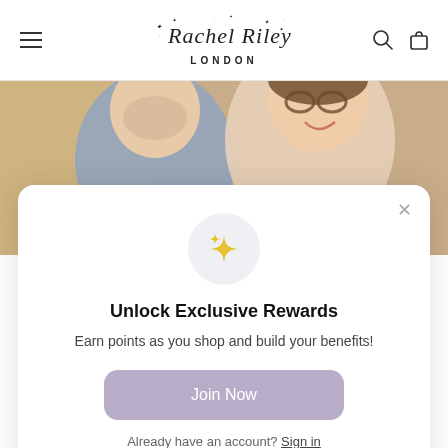Rachel Riley London
[Figure (photo): Two people smiling, cropped close up portrait, warm background]
[Figure (illustration): Gold sparkle/stars icon in a light grey circle]
Unlock Exclusive Rewards
Earn points as you shop and build your benefits!
Join Now
Already have an account? Sign in